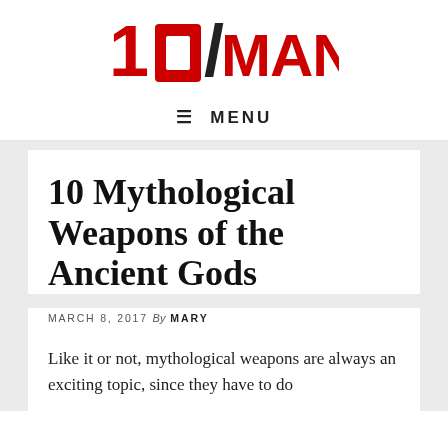[Figure (logo): 10MANIA logo in bold red and black stylized text]
≡  MENU
10 Mythological Weapons of the Ancient Gods
MARCH 8, 2017 By MARY
Like it or not, mythological weapons are always an exciting topic, since they have to do